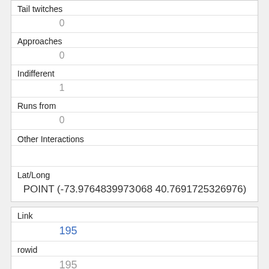| Tail twitches | 0 |
| Approaches | 0 |
| Indifferent | 1 |
| Runs from | 0 |
| Other Interactions |  |
| Lat/Long | POINT (-73.9764839973068 40.7691725326976) |
| Link | 195 |
| rowid | 195 |
| longitude | -73.97377736133109 |
| latitude |  |